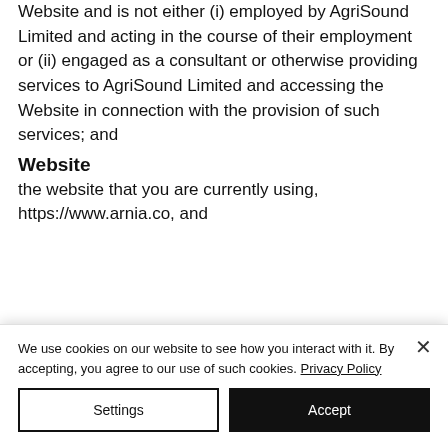Website and is not either (i) employed by AgriSound Limited and acting in the course of their employment or (ii) engaged as a consultant or otherwise providing services to AgriSound Limited and accessing the Website in connection with the provision of such services; and
Website
the website that you are currently using, https://www.arnia.co, and
We use cookies on our website to see how you interact with it. By accepting, you agree to our use of such cookies. Privacy Policy